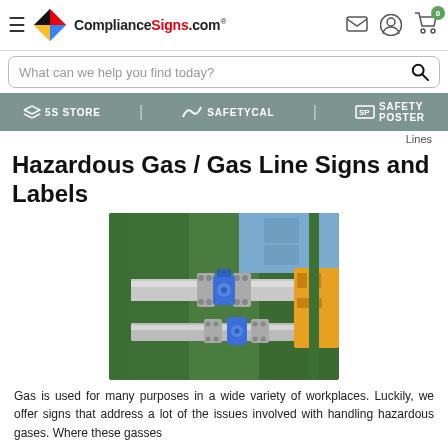ComplianceSigns.com — navigation header with hamburger menu, logo, search icons, account icon, cart icon (0)
What can we help you find today?
5S STORE | SAFETYCAL | SAFETY POSTER
Lines
Hazardous Gas / Gas Line Signs and Labels
[Figure (photo): Industrial green machinery with silver pipes, blue pipe fittings and valves, bolted flanges, in an industrial facility.]
Gas is used for many purposes in a wide variety of workplaces. Luckily, we offer signs that address a lot of the issues involved with handling hazardous gases. Where these gasses